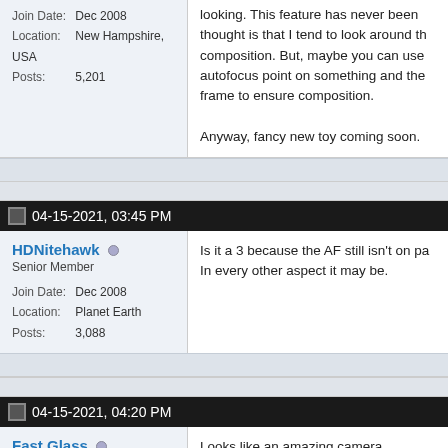Join Date: Dec 2008
Location: New Hampshire, USA
Posts: 5,201
looking. This feature has never been... thought is that I tend to look around the composition. But, maybe you can use... autofocus point on something and then frame to ensure composition.

Anyway, fancy new toy coming soon.
04-15-2021, 03:45 PM
HDNitehawk
Senior Member
Join Date: Dec 2008
Location: Planet Earth
Posts: 3,088
Is it a 3 because the AF still isn't on pa... In every other aspect it may be.
04-15-2021, 04:20 PM
Fast Glass
Senior Member
[Figure (photo): Avatar photo of forum user Fast Glass, black and white portrait]
Looks like an amazing camera.

I already owned the 1DX III, bought it... But ended up returning it.

Ultimately it was the most amazing...